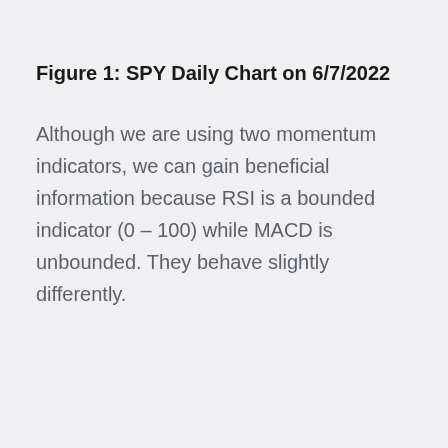Figure 1: SPY Daily Chart on 6/7/2022
Although we are using two momentum indicators, we can gain beneficial information because RSI is a bounded indicator (0 – 100) while MACD is unbounded. They behave slightly differently.